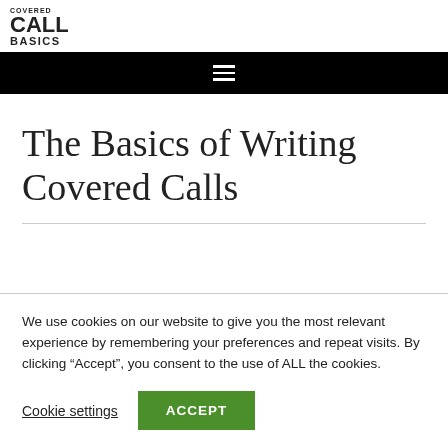COVERED CALL BASICS
The Basics of Writing Covered Calls
We use cookies on our website to give you the most relevant experience by remembering your preferences and repeat visits. By clicking “Accept”, you consent to the use of ALL the cookies.
Cookie settings | ACCEPT